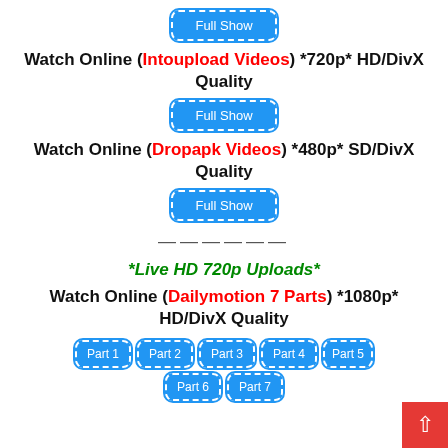[Figure (other): Blue dashed button labeled Full Show]
Watch Online (Intoupload Videos) *720p* HD/DivX Quality
[Figure (other): Blue dashed button labeled Full Show]
Watch Online (Dropapk Videos) *480p* SD/DivX Quality
[Figure (other): Blue dashed button labeled Full Show]
-----
*Live HD 720p Uploads*
Watch Online (Dailymotion 7 Parts) *1080p* HD/DivX Quality
[Figure (other): Blue dashed buttons: Part 1, Part 2, Part 3, Part 4, Part 5, Part 6, Part 7]